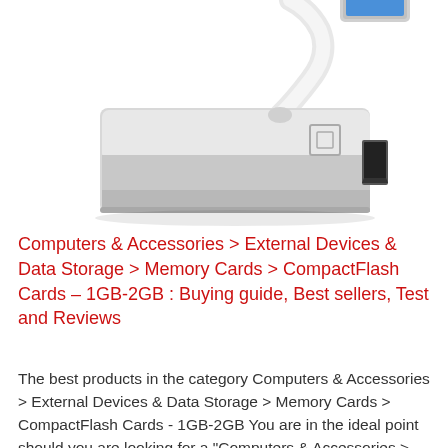[Figure (photo): A silver/white USB 3.0 to HDMI adapter. The adapter has a white USB-A cable going to the upper right, a silver rectangular body, and an HDMI female port on the right side. There is a small square logo/icon on the top of the adapter.]
Computers & Accessories > External Devices & Data Storage > Memory Cards > CompactFlash Cards – 1GB-2GB : Buying guide, Best sellers, Test and Reviews
The best products in the category Computers & Accessories > External Devices & Data Storage > Memory Cards > CompactFlash Cards - 1GB-2GB You are in the ideal point should you are looking for a "Computers & Accessories > External Devices